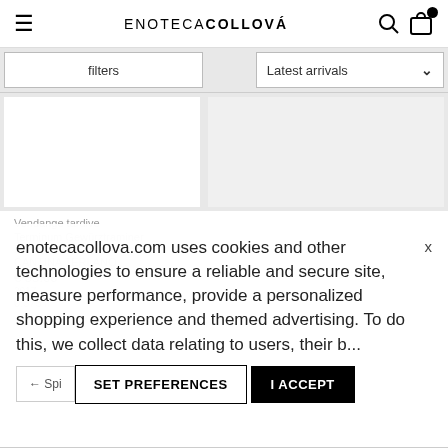ENOTECA COLLOVÁ
filters
Latest arrivals
Vendange tardive
Terminum Gewürztraminer
2017
CANTINA TERLANO
€ 55.00
2017
0.375 ll
enotecacollova.com uses cookies and other technologies to ensure a reliable and secure site, measure performance, provide a personalized shopping experience and themed advertising. To do this, we collect data relating to users, their...
← Spi
SET PREFERENCES
I ACCEPT